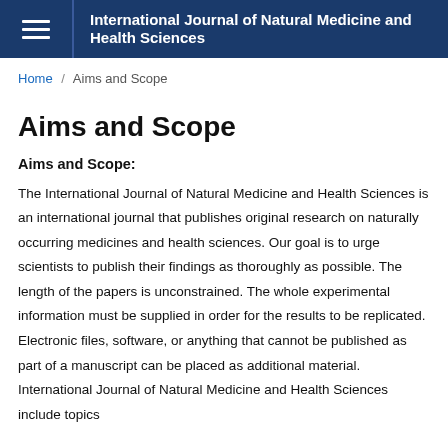International Journal of Natural Medicine and Health Sciences
Home / Aims and Scope
Aims and Scope
Aims and Scope:
The International Journal of Natural Medicine and Health Sciences is an international journal that publishes original research on naturally occurring medicines and health sciences. Our goal is to urge scientists to publish their findings as thoroughly as possible. The length of the papers is unconstrained. The whole experimental information must be supplied in order for the results to be replicated. Electronic files, software, or anything that cannot be published as part of a manuscript can be placed as additional material. International Journal of Natural Medicine and Health Sciences include topics